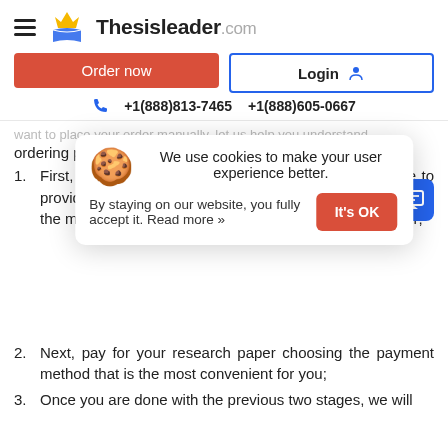[Figure (logo): ThesisLeader.com logo with hamburger menu, crown and book icon, and bold wordmark]
[Figure (screenshot): Order now (red button) and Login (blue-bordered button) side by side]
+1(888)813-7465  +1(888)605-0667
want to place your order manually, let us help you understand... ordering p
[Figure (screenshot): Cookie consent popup: 'We use cookies to make your user experience better. By staying on our website, you fully accept it. Read more »' with It's OK button]
First, ... forward order form ... want us to write. Make sure to provide us with your professor's prompt so that we assign the most skilled and experienced specialist for your order;
Next, pay for your research paper choosing the payment method that is the most convenient for you;
Once you are done with the previous two stages, we will ...